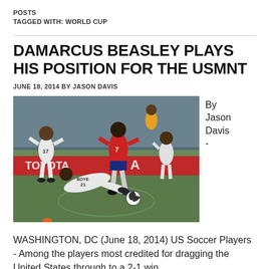POSTS
TAGGED WITH: WORLD CUP
DAMARCUS BEASLEY PLAYS HIS POSITION FOR THE USMNT
JUNE 18, 2014 BY JASON DAVIS
[Figure (photo): Soccer match photo showing players in action; a US player in red jersey number 7 is challenged by a Ghana player number 21 (Boye) sliding in, with another Ghana player number 17 in background, during a World Cup match.]
By Jason Davis -
WASHINGTON, DC (June 18, 2014) US Soccer Players - Among the players most credited for dragging the United States through to a 2-1 win